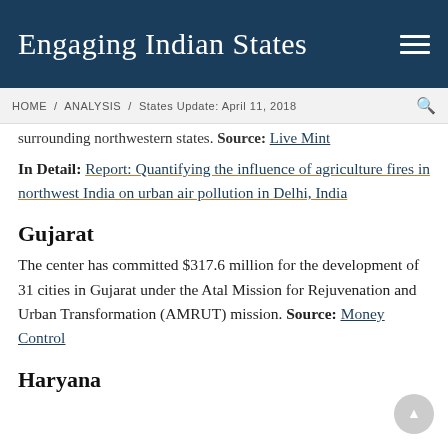Engaging Indian States
HOME / ANALYSIS / States Update: April 11, 2018
surrounding northwestern states. Source: Live Mint
In Detail: Report: Quantifying the influence of agriculture fires in northwest India on urban air pollution in Delhi, India
Gujarat
The center has committed $317.6 million for the development of 31 cities in Gujarat under the Atal Mission for Rejuvenation and Urban Transformation (AMRUT) mission. Source: Money Control
Haryana